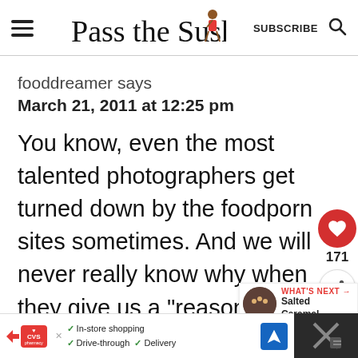[Figure (logo): Pass the Sushi logo with cursive script and small cartoon figure]
fooddreamer says
March 21, 2011 at 12:25 pm
You know, even the most talented photographers get turned down by the foodporn sites sometimes. And we will never really know why when they give us a "reason". I get